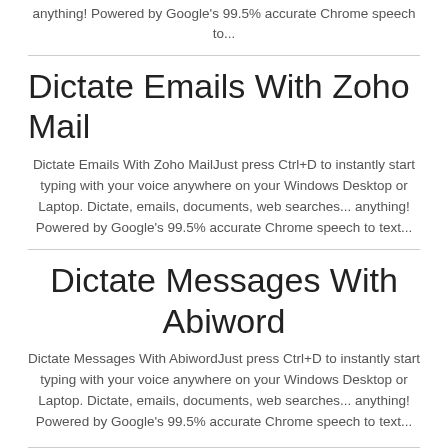anything! Powered by Google's 99.5% accurate Chrome speech to...
Dictate Emails With Zoho Mail
Dictate Emails With Zoho MailJust press Ctrl+D to instantly start typing with your voice anywhere on your Windows Desktop or Laptop. Dictate, emails, documents, web searches... anything! Powered by Google's 99.5% accurate Chrome speech to text...
Dictate Messages With Abiword
Dictate Messages With AbiwordJust press Ctrl+D to instantly start typing with your voice anywhere on your Windows Desktop or Laptop. Dictate, emails, documents, web searches... anything! Powered by Google's 99.5% accurate Chrome speech to text...